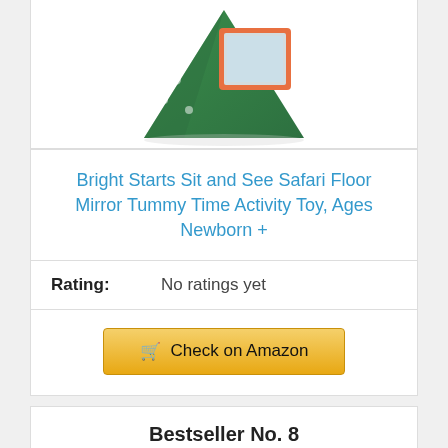[Figure (photo): Bright Starts Sit and See Safari Floor Mirror toy product photo - triangular tummy time toy with mirror]
Bright Starts Sit and See Safari Floor Mirror Tummy Time Activity Toy, Ages Newborn +
Rating: No ratings yet
Check on Amazon
Bestseller No. 8
[Figure (photo): Bestseller No. 8 product image - colorful toy with handle, partially visible]